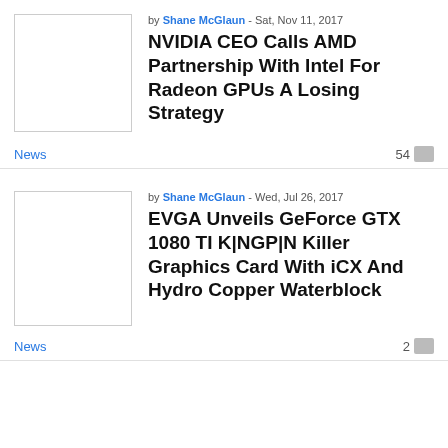by Shane McGlaun - Sat, Nov 11, 2017
NVIDIA CEO Calls AMD Partnership With Intel For Radeon GPUs A Losing Strategy
News
54
by Shane McGlaun - Wed, Jul 26, 2017
EVGA Unveils GeForce GTX 1080 TI K|NGP|N Killer Graphics Card With iCX And Hydro Copper Waterblock
News
2